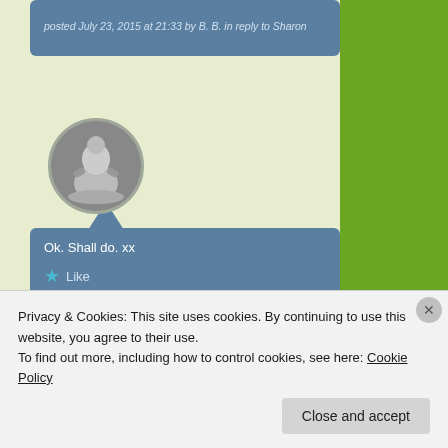posted July 23, 2015 at 21:33 by B. B. in reply to Sharon
[Figure (photo): Round avatar photo of a ceramic teapot figure with a humanoid shape, circular crop]
Ok. Shall do. xx
★ Like
posted July 25, 2015 at 16:20 by Sharon in reply to B. B.
[Figure (logo): Circular logo made of green triangular arrow shapes arranged in a ring]
Privacy & Cookies: This site uses cookies. By continuing to use this website, you agree to their use. To find out more, including how to control cookies, see here: Cookie Policy
Close and accept